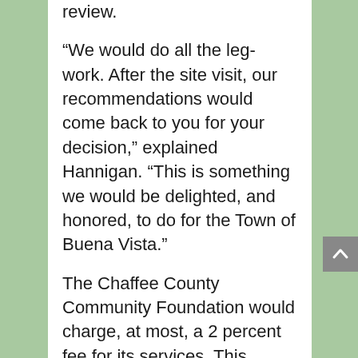review.
“We would do all the leg-work. After the site visit, our recommendations would come back to you for your decision,” explained Hannigan. “This is something we would be delighted, and honored, to do for the Town of Buena Vista.”
The Chaffee County Community Foundation would charge, at most, a 2 percent fee for its services. This percentage is capped at 2 percent but can be adjusted lower. The fee would be deducted from the funds the Town of Buena Vista has in its